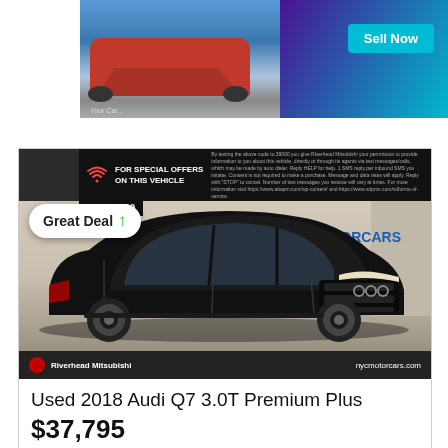[Figure (photo): Top advertisement banner showing a red car on a phone/device mockup with purple-to-teal gradient background and a 'Sell Now' button]
[Figure (photo): Used 2018 Audi Q7 3.0T Premium Plus black SUV shown in NYC Motorcars showroom, with 'Great Deal' badge, offer bar at top, and Riverhead Mitsubishi dealer footer. nycmotorcars.com]
Used 2018 Audi Q7 3.0T Premium Plus
$37,795